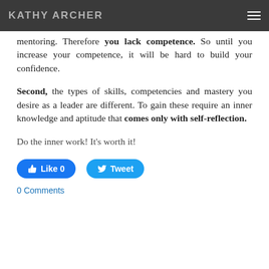KATHY ARCHER
mentoring. Therefore you lack competence. So until you increase your competence, it will be hard to build your confidence.
Second, the types of skills, competencies and mastery you desire as a leader are different. To gain these require an inner knowledge and aptitude that comes only with self-reflection.
Do the inner work! It's worth it!
[Figure (other): Facebook Like button (0 likes) and Twitter Tweet button]
0 Comments